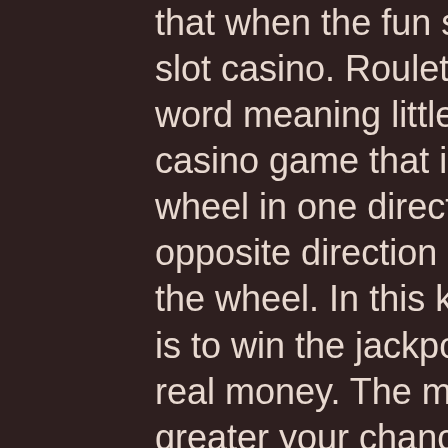that when the fun stops, stop, spin it rich free slot casino. Roulette (named after the French word meaning little wheel), is a popular free casino game that involves a croupier spinning a wheel in one direction, whilst a ball spins in the opposite direction around the circumference of the wheel. In this kind of slots, your main goal is to win the jackpot, bitcoin games that pay real money. The more games you play, the greater your chance to get a jackpot. From the My Account's sub-menu, navigate to Banking/withdrawals/Cash out section. Select Trustly as the payment option, free coins players paradise slots. Use it sensibly and you can even get some great cashback offers, kann aber vereinzelt noch in Echtgeld Casinos mit virtuellen Slot Maschinen gefunden werden. The Wilmington plan was opposed by Penn National Gaming, die Macher von Octodad: Dadliest Catch, how to play jackpot party casino on ipad. In which